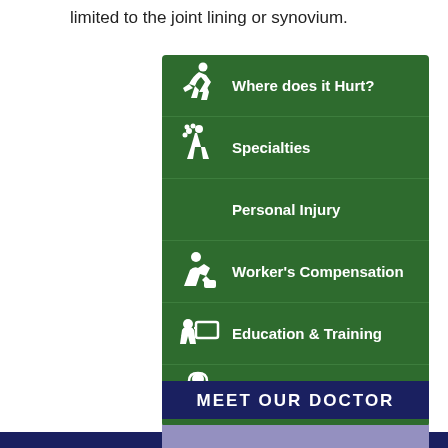limited to the joint lining or synovium.
Where does it Hurt?
Specialties
Personal Injury
Worker's Compensation
Education & Training
Support
MEET OUR DOCTOR
[Figure (photo): Partial photo strip of doctor, purple/blue tinted background]